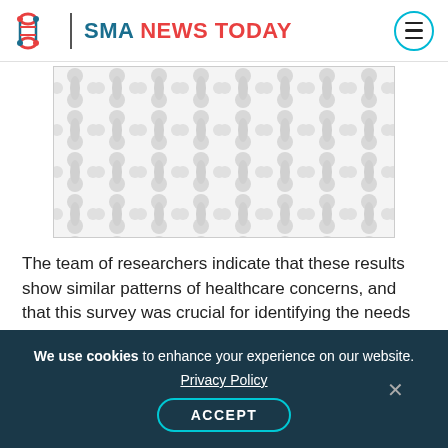SMA NEWS TODAY
[Figure (illustration): Decorative placeholder image with a repeating molecular/DNA-like pattern in light gray on white background]
The team of researchers indicate that these results show similar patterns of healthcare concerns, and that this survey was crucial for identifying the needs of both patients/families and health care professionals. The results of the study may provide appropriate clinical management of SMA.
We use cookies to enhance your experience on our website. Privacy Policy ACCEPT